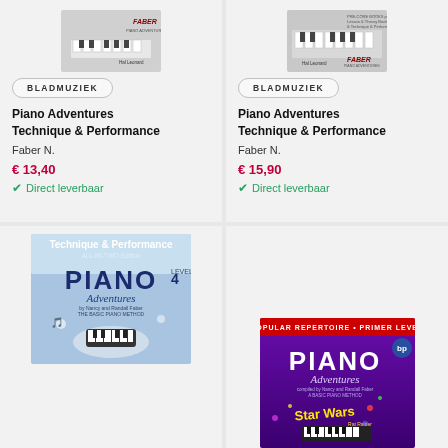[Figure (photo): Piano Adventures Technique & Performance book cover - top portion showing piano keys and Faber logo]
BLADMUZIEK
Piano Adventures Technique & Performance
Faber N.
€ 13,40
Direct leverbaar
[Figure (photo): Piano Adventures Technique & Performance book cover - showing PRE-CORE BOOKS, Faber logo and Hal Leonard branding]
BLADMUZIEK
Piano Adventures Technique & Performance
Faber N.
€ 15,90
Direct leverbaar
[Figure (photo): Piano Adventures Technique & Performance ALL-IN-TWO Edition book cover - blue/white cover with piano and butterfly imagery]
[Figure (photo): Piano Adventures Popular Repertoire book cover - purple cover with Star Wars text and piano imagery]